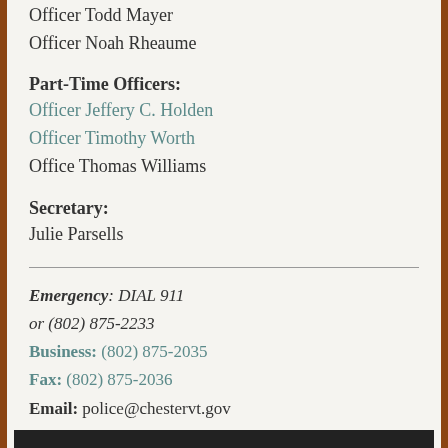Officer Todd Mayer
Officer Noah Rheaume
Part-Time Officers:
Officer Jeffery C. Holden
Officer Timothy Worth
Office Thomas Williams
Secretary:
Julie Parsells
Emergency: DIAL 911
or (802) 875-2233
Business: (802) 875-2035
Fax: (802) 875-2036
Email: police@chestervt.gov